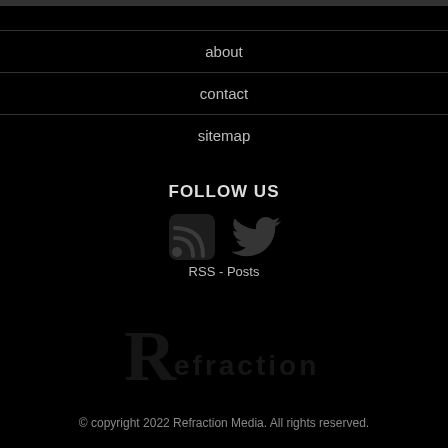about
contact
sitemap
FOLLOW US
[Figure (illustration): RSS feed icon and Twitter bird icon displayed side by side with label RSS - Posts below]
[Figure (logo): Refraction Media logo in dark/gray tones]
© copyright 2022 Refraction Media. All rights reserved.